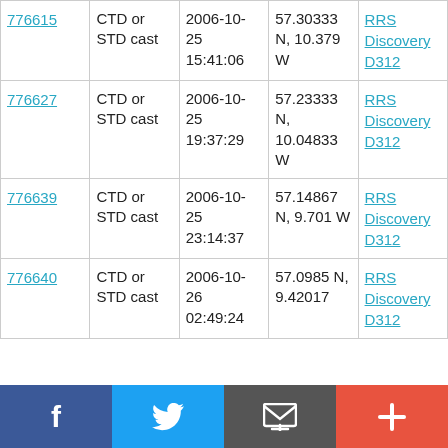| 776615 | CTD or STD cast | 2006-10-25 15:41:06 | 57.30333 N, 10.379 W | RRS Discovery D312 |
| 776627 | CTD or STD cast | 2006-10-25 19:37:29 | 57.23333 N, 10.04833 W | RRS Discovery D312 |
| 776639 | CTD or STD cast | 2006-10-25 23:14:37 | 57.14867 N, 9.701 W | RRS Discovery D312 |
| 776640 | CTD or STD cast | 2006-10-26 02:49:24 | 57.0985 N, 9.42017 | RRS Discovery D312 |